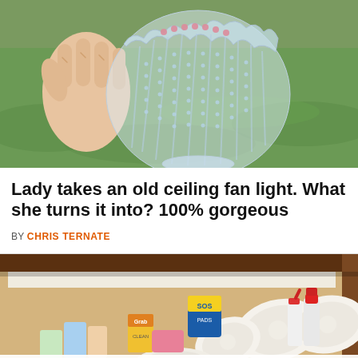[Figure (photo): A hand holding a clear textured glass ceiling fan light globe outdoors against green grass background]
Lady takes an old ceiling fan light. What she turns it into? 100% gorgeous
BY CHRIS TERNATE
[Figure (photo): An open cabinet/drawer filled with cleaning supplies including paper towel rolls, SOS pads, Grab product, and various cleaning bottles]
© DIY Everywhere   About Ads   Terms   Privacy   Do Not Sell My Info